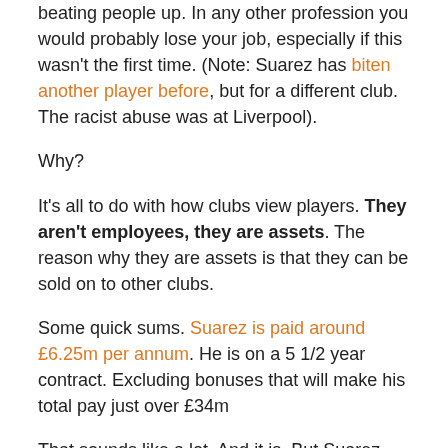beating people up. In any other profession you would probably lose your job, especially if this wasn't the first time. (Note: Suarez has biten another player before, but for a different club. The racist abuse was at Liverpool).
Why?
It's all to do with how clubs view players. They aren't employees, they are assets. The reason why they are assets is that they can be sold on to other clubs.
Some quick sums. Suarez is paid around £6.25m per annum. He is on a 5 1/2 year contract. Excluding bonuses that will make his total pay just over £34m
That sounds like a lot. And it is. But Suarez was bought from Ajax in the Netherlands in January 2011 for £22.8m, and given his performances for Liverpool, his value will be at this level. Of course, towards the end of